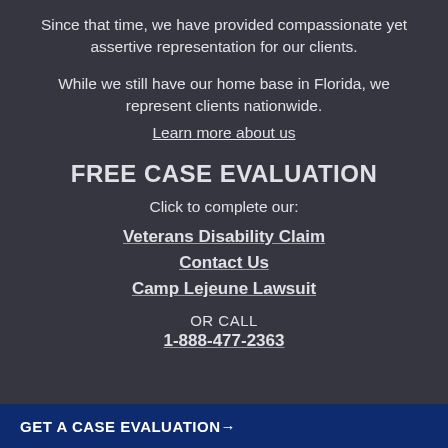Since that time, we have provided compassionate yet assertive representation for our clients.
While we still have our home base in Florida, we represent clients nationwide.
Learn more about us
FREE CASE EVALUATION
Click to complete our:
Veterans Disability Claim
Contact Us
Camp Lejeune Lawsuit
OR CALL
1-888-477-2363
GET A CASE EVALUATION→